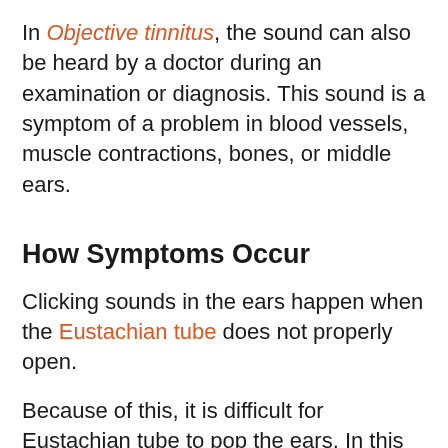In Objective tinnitus, the sound can also be heard by a doctor during an examination or diagnosis. This sound is a symptom of a problem in blood vessels, muscle contractions, bones, or middle ears.
How Symptoms Occur
Clicking sounds in the ears happen when the Eustachian tube does not properly open.
Because of this, it is difficult for Eustachian tube to pop the ears. In this condition, you can feel as